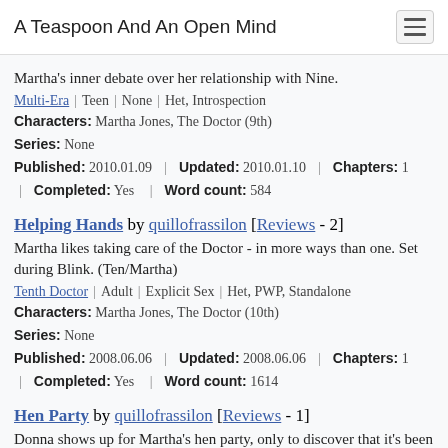A Teaspoon And An Open Mind
Martha's inner debate over her relationship with Nine.
Multi-Era | Teen | None | Het, Introspection
Characters: Martha Jones, The Doctor (9th)
Series: None
Published: 2010.01.09 | Updated: 2010.01.10 | Chapters: 1 | Completed: Yes | Word count: 584
Helping Hands by quillofrassilon [Reviews - 2]
Martha likes taking care of the Doctor - in more ways than one. Set during Blink. (Ten/Martha)
Tenth Doctor | Adult | Explicit Sex | Het, PWP, Standalone
Characters: Martha Jones, The Doctor (10th)
Series: None
Published: 2008.06.06 | Updated: 2008.06.06 | Chapters: 1 | Completed: Yes | Word count: 1614
Hen Party by quillofrassilon [Reviews - 1]
Donna shows up for Martha's hen party, only to discover that it's been cancelled. (Donna/Martha)